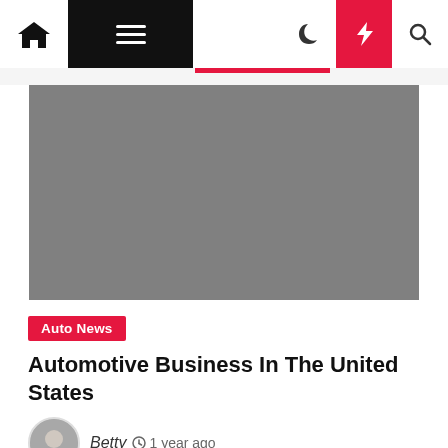Navigation bar with home, menu, moon, bolt, and search icons
[Figure (photo): Gray placeholder hero image for automotive business article]
Auto News
Automotive Business In The United States
Betty  1 year ago